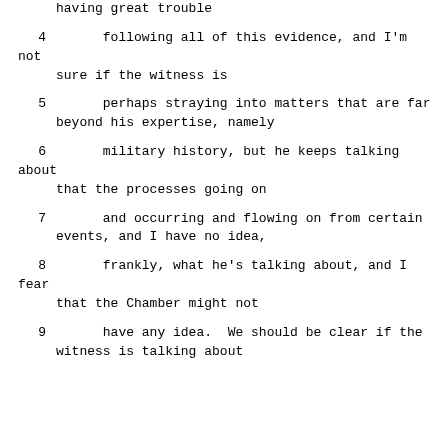having great trouble
4      following all of this evidence, and I'm not sure if the witness is
5      perhaps straying into matters that are far beyond his expertise, namely
6      military history, but he keeps talking about that the processes going on
7      and occurring and flowing on from certain events, and I have no idea,
8      frankly, what he's talking about, and I fear that the Chamber might not
9      have any idea.  We should be clear if the witness is talking about